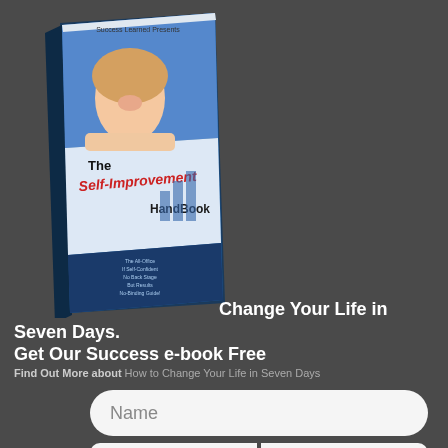[Figure (illustration): Book cover for 'The Self-Improvement HandBook' presented by Success Learned, showing a smiling woman leaning on a surface with a blue background, and a list of contents visible at the bottom. The book is shown in a 3D perspective tilt.]
Change Your Life in Seven Days. Get Our Success e-book Free
Find Out More about How to Change Your Life in Seven Days